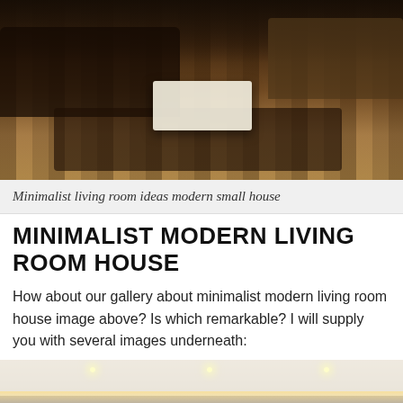[Figure (photo): Minimalist living room with dark wood striped flooring, large area rug, beige sofas, and a white rectangular coffee table. Dark brown tones dominate the room.]
Minimalist living room ideas modern small house
MINIMALIST MODERN LIVING ROOM HOUSE
How about our gallery about minimalist modern living room house image above? Is which remarkable? I will supply you with several images underneath:
[Figure (photo): Modern minimalist living room with white coved ceiling featuring recessed LED strip lighting, bright white walls and ceiling design, dark floor visible at bottom.]